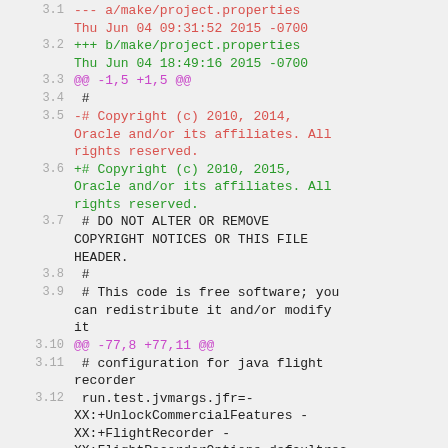3.1  --- a/make/project.properties Thu Jun 04 09:31:52 2015 -0700
3.2  +++ b/make/project.properties Thu Jun 04 18:49:16 2015 -0700
3.3  @@ -1,5 +1,5 @@
3.4   #
3.5  -# Copyright (c) 2010, 2014, Oracle and/or its affiliates. All rights reserved.
3.6  +# Copyright (c) 2010, 2015, Oracle and/or its affiliates. All rights reserved.
3.7   # DO NOT ALTER OR REMOVE COPYRIGHT NOTICES OR THIS FILE HEADER.
3.8   #
3.9   # This code is free software; you can redistribute it and/or modify it
3.10 @@ -77,8 +77,11 @@
3.11  # configuration for java flight recorder
3.12  run.test.jvmargs.jfr=-XX:+UnlockCommercialFeatures -XX:+FlightRecorder -XX:FlightRecorderOptions=defaultrec
3.13
3.14 +# test library location
3.15 +test.lib=${basedir}${file.separator}